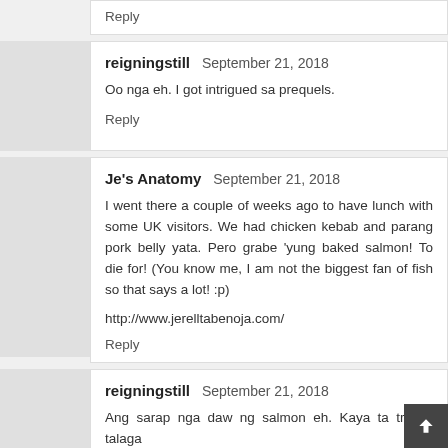Reply
reigningstill  September 21, 2018
Oo nga eh. I got intrigued sa prequels.
Reply
Je's Anatomy  September 21, 2018
I went there a couple of weeks ago to have lunch with some UK visitors. We had chicken kebab and parang pork belly yata. Pero grabe 'yung baked salmon! To die for! (You know me, I am not the biggest fan of fish so that says a lot! :p)
http://www.jerelltabenoja.com/
Reply
reigningstill  September 21, 2018
Ang sarap nga daw ng salmon eh. Kaya ta try ko talaga next time.